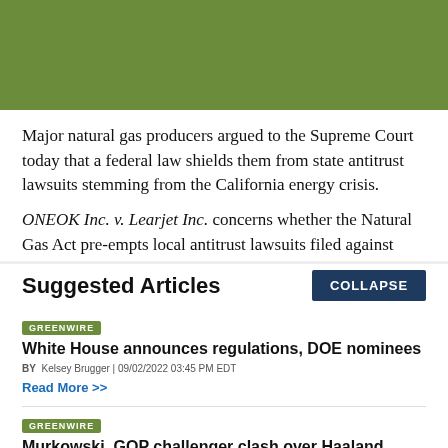[Figure (other): Green/olive colored banner image at top of page]
Major natural gas producers argued to the Supreme Court today that a federal law shields them from state antitrust lawsuits stemming from the California energy crisis.
ONEOK Inc. v. Learjet Inc. concerns whether the Natural Gas Act pre-empts local antitrust lawsuits filed against
Suggested Articles
COLLAPSE
GREENWIRE
White House announces regulations, DOE nominees
BY Kelsey Brugger | 09/02/2022 03:45 PM EDT
Read More >>
GREENWIRE
Murkowski, GOP challenger clash over Haaland, drilling,